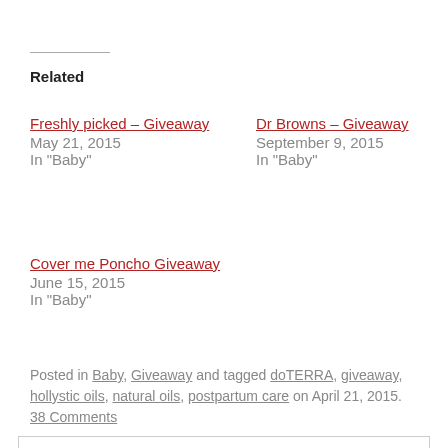Related
Freshly picked – Giveaway
May 21, 2015
In "Baby"
Dr Browns – Giveaway
September 9, 2015
In "Baby"
Cover me Poncho Giveaway
June 15, 2015
In "Baby"
Posted in Baby, Giveaway and tagged doTERRA, giveaway, hollystic oils, natural oils, postpartum care on April 21, 2015. 38 Comments
Privacy & Cookies: This site uses cookies. By continuing to use this website, you agree to their use.
To find out more, including how to control cookies, see here: Cookie Policy
Close and accept